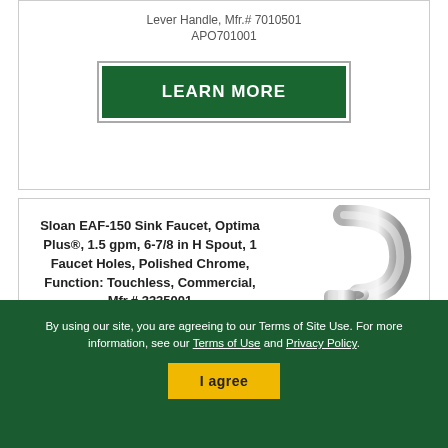Lever Handle, Mfr.# 7010501
APO701001
[Figure (other): LEARN MORE button — dark green rectangular button with white bold text]
Sloan EAF-150 Sink Faucet, Optima Plus®, 1.5 gpm, 6-7/8 in H Spout, 1 Faucet Holes, Polished Chrome, Function: Touchless, Commercial, Mfr.# 3335001
SLEAF150ISM
[Figure (photo): Chrome touchless faucet, Sloan EAF-150, side profile showing curved spout]
By using our site, you are agreeing to our Terms of Site Use. For more information, see our Terms of Use and Privacy Policy.
[Figure (other): I agree button — yellow/gold button with dark text]